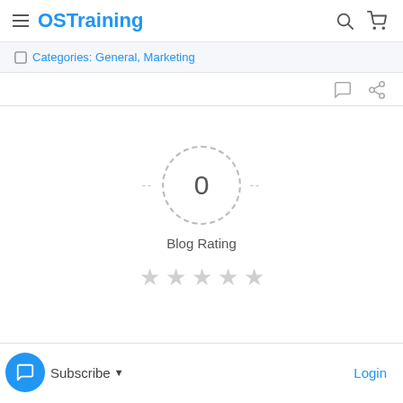OSTraining
Categories: General, Marketing
[Figure (infographic): Blog Rating widget showing a dashed circle with 0 in the center, dash lines on each side, label 'Blog Rating' below, and 5 empty grey stars]
Subscribe | Login